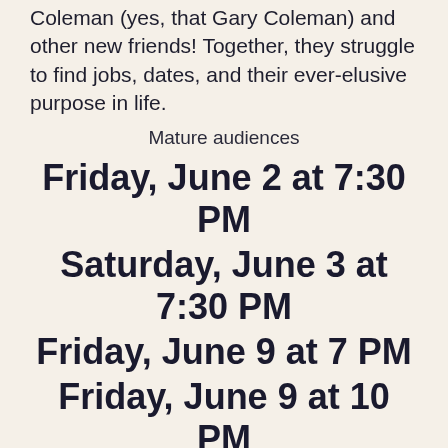Coleman (yes, that Gary Coleman) and other new friends! Together, they struggle to find jobs, dates, and their ever-elusive purpose in life.
Mature audiences
Friday, June 2 at 7:30 PM
Saturday, June 3 at 7:30 PM
Friday, June 9 at 7 PM
Friday, June 9 at 10 PM
Tickets: